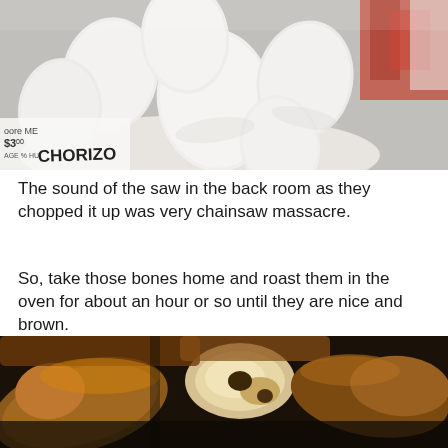[Figure (photo): Photo of white eggs in a bowl at a market stall with a price tag reading 'GORE ME $3.00 CHORIZO' and raw meat visible in the background]
The sound of the saw in the back room as they chopped it up was very chainsaw massacre.
So, take those bones home and roast them in the oven for about an hour or so until they are nice and brown.
[Figure (photo): Close-up photo of roasted bones and meat in a dark roasting pan, browned and caramelized]